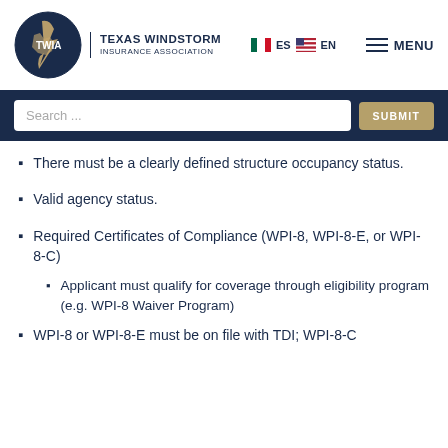TWIA - Texas Windstorm Insurance Association | ES EN | MENU
There must be a clearly defined structure occupancy status.
Valid agency status.
Required Certificates of Compliance (WPI-8, WPI-8-E, or WPI-8-C)
Applicant must qualify for coverage through eligibility program (e.g. WPI-8 Waiver Program)
WPI-8 or WPI-8-E must be on file with TDI; WPI-8-C